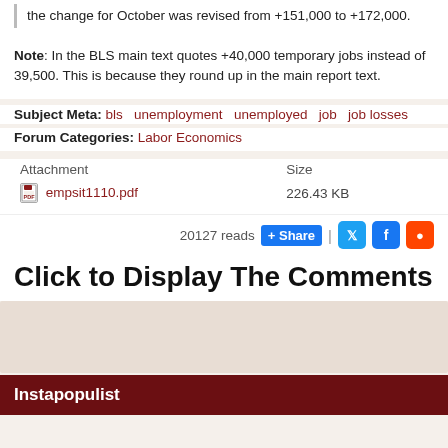the change for October was revised from +151,000 to +172,000.
Note: In the BLS main text quotes +40,000 temporary jobs instead of 39,500. This is because they round up in the main report text.
Subject Meta: bls   unemployment   unemployed   job   job losses
Forum Categories: Labor Economics
| Attachment | Size |
| --- | --- |
| empsit1110.pdf | 226.43 KB |
20127 reads  Share
Click to Display The Comments
Instapopulist